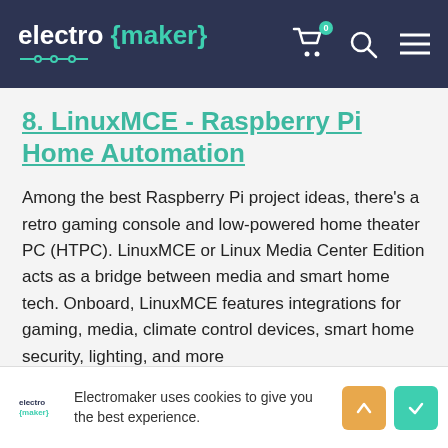electro {maker}
8. LinuxMCE - Raspberry Pi Home Automation
Among the best Raspberry Pi project ideas, there's a retro gaming console and low-powered home theater PC (HTPC). LinuxMCE or Linux Media Center Edition acts as a bridge between media and smart home tech. Onboard, LinuxMCE features integrations for gaming, media, climate control devices, smart home security, lighting, and more
Electromaker uses cookies to give you the best experience.